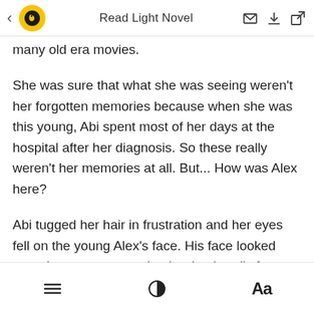Read Light Novel
many old era movies.
She was sure that what she was seeing weren't her forgotten memories because when she was this young, Abi spent most of her days at the hospital after her diagnosis. So these really weren't her memories at all. But... How was Alex here?
Abi tugged her hair in frustration and her eyes fell on the young Alex's face. His face looked more human compared to her husband's face now, as if this Alex was his human version. He also looked vulnerable and pretty darn cute in
≡  ◑  Aa